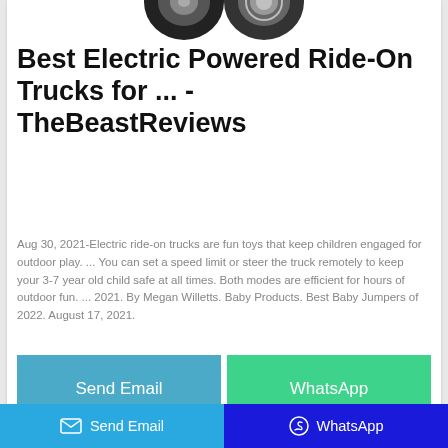[Figure (photo): Two car/truck tires partially visible at the top of the card]
Best Electric Powered Ride-On Trucks for ... - TheBeastReviews
Aug 30, 2021-Electric ride-on trucks are fun toys that keep children engaged for outdoor play. ... You can set a speed limit or steer the truck remotely to keep your 3-7 year old child safe at all times. Both modes are efficient for hours of outdoor fun. ... 2021. By Megan Willetts. Baby Products. Best Baby Jumpers of 2022. August 17, 2021.
Send Email
WhatsApp
Send Email   WhatsApp